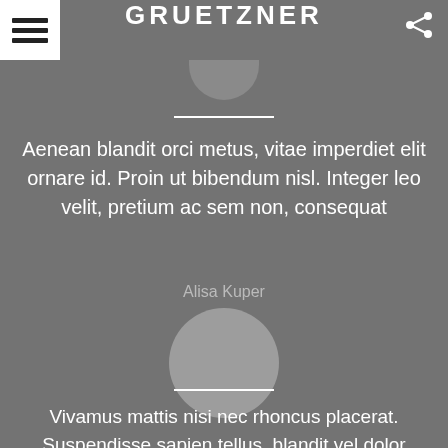GRUETZNER
[Figure (illustration): Half-circle profile silhouette at top]
Aenean blandit orci metus, vitae imperdiet elit ornare id. Proin ut bibendum nisl. Integer leo velit, pretium ac sem non, consequat
Alisa Kuper
[Figure (illustration): Circular avatar placeholder for Alisa Kuper]
Vivamus mattis nisi nec rhoncus placerat. Suspendisse sapien tellus, blandit vel dolor